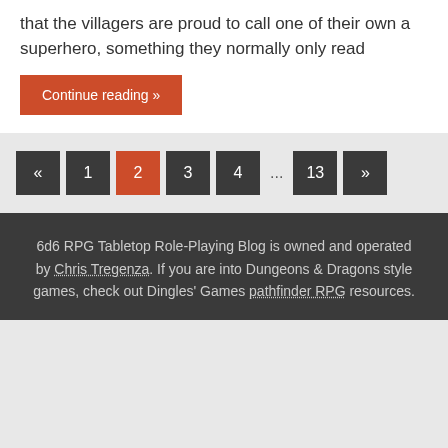that the villagers are proud to call one of their own a superhero, something they normally only read
Continue reading »
« 1 2 3 4 ... 13 »
6d6 RPG Tabletop Role-Playing Blog is owned and operated by Chris Tregenza. If you are into Dungeons & Dragons style games, check out Dingles' Games pathfinder RPG resources.